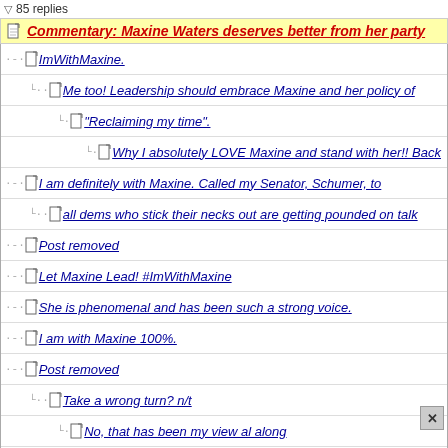85 replies
Commentary: Maxine Waters deserves better from her party
ImWithMaxine.
Me too! Leadership should embrace Maxine and her policy of
"Reclaiming my time".
Why I absolutely LOVE Maxine and stand with her!! Back
I am definitely with Maxine. Called my Senator, Schumer, to
all dems who stick their necks out are getting pounded on talk
Post removed
Let Maxine Lead! #ImWithMaxine
She is phenomenal and has been such a strong voice.
I am with Maxine 100%.
Post removed
Take a wrong turn? n/t
No, that has been my view al along
My reply wasn't to you but to a troll whose post has since
If the Democratic leadership won't stand up for one of their own, why
I'm with you. nt
Great question. Many already don't, which is why
Right on!! FUCK civility!! Go Maxine!!